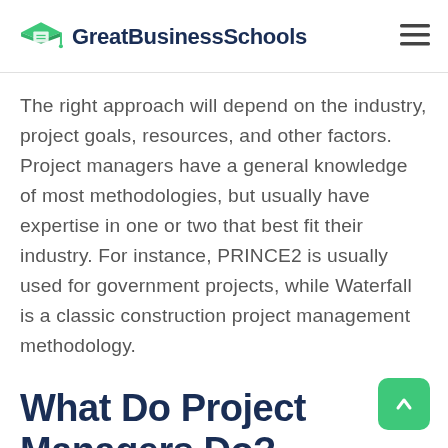GreatBusinessSchools
The right approach will depend on the industry, project goals, resources, and other factors. Project managers have a general knowledge of most methodologies, but usually have expertise in one or two that best fit their industry. For instance, PRINCE2 is usually used for government projects, while Waterfall is a classic construction project management methodology.
What Do Project Managers Do?